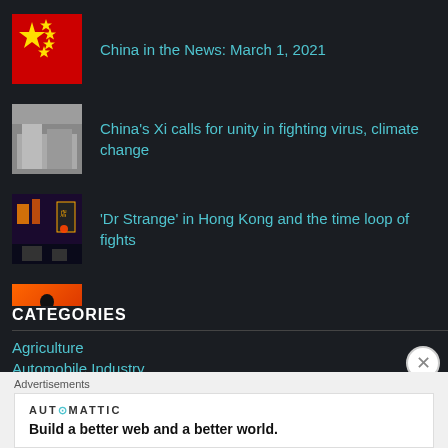China in the News: March 1, 2021
China's Xi calls for unity in fighting virus, climate change
'Dr Strange' in Hong Kong and the time loop of fights
Cadence of Conflict: Asia, August 31
CATEGORIES
Agriculture
Automobile Industry
Advertisements
AUT⊙MATTIC
Build a better web and a better world.